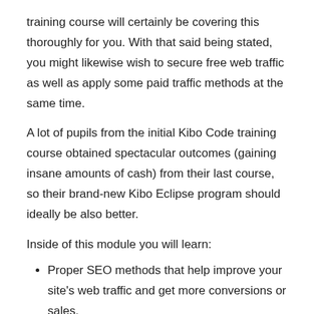training course will certainly be covering this thoroughly for you. With that said being stated, you might likewise wish to secure free web traffic as well as apply some paid traffic methods at the same time.
A lot of pupils from the initial Kibo Code training course obtained spectacular outcomes (gaining insane amounts of cash) from their last course, so their brand-new Kibo Eclipse program should ideally be also better.
Inside of this module you will learn:
Proper SEO methods that help improve your site's web traffic and get more conversions or sales.
Ways to generate leads (both complimentary and also paid).
And also just how to set up effective sales funnels that will bring in more web traffic and sales for you.